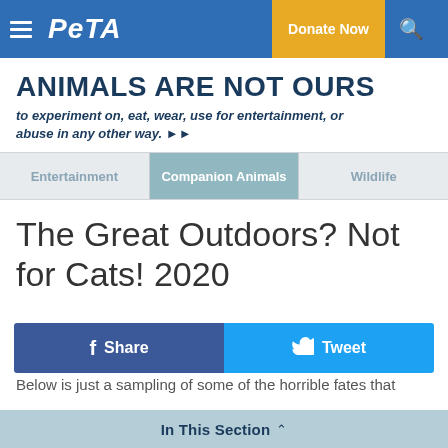PETA — Donate Now
ANIMALS ARE NOT OURS to experiment on, eat, wear, use for entertainment, or abuse in any other way.
Entertainment | Companion Animals | Wildlife
The Great Outdoors? Not for Cats! 2020
Share | Tweet
Below is just a sampling of some of the horrible fates that
In This Section